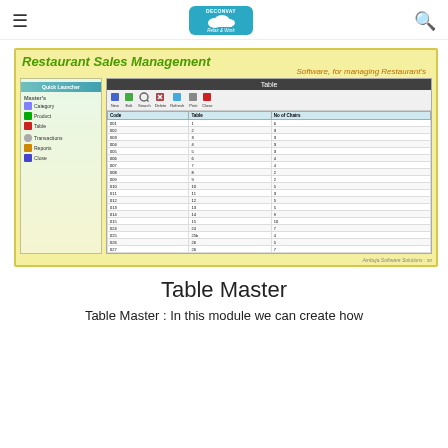≡  DECONVAY Relax & Work  🔍
[Figure (screenshot): Restaurant Sales Management software screenshot showing Table module with sidebar menu (Master's, Category, Product, Table, Transactions, Reports, Close) and main panel listing table records with Code, Table, No of Chairs columns]
Table Master
Table Master : In this module we can create how